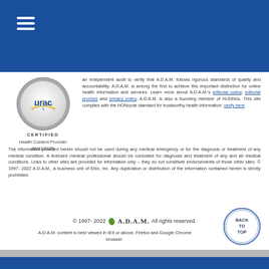Navigation header bar with hamburger menu
[Figure (logo): URAC certified logo - circular silver badge with 'urac' text and sunrise graphic, labeled CERTIFIED below]
Health Content Provider 06/01/2025
an independent audit to verify that A.D.A.M. follows rigorous standards of quality and accountability. A.D.A.M. is among the first to achieve this important distinction for online health information and services. Learn more about A.D.A.M.'s editorial policy, editorial process and privacy policy. A.D.A.M. is also a founding member of Hi-Ethics. This site complies with the HONcode standard for trustworthy health information: verify here.
The information provided herein should not be used during any medical emergency or for the diagnosis or treatment of any medical condition. A licensed medical professional should be consulted for diagnosis and treatment of any and all medical conditions. Links to other sites are provided for information only -- they do not constitute endorsements of those other sites. © 1997- 2022 A.D.A.M., a business unit of Ebix, Inc. Any duplication or distribution of the information contained herein is strictly prohibited.
© 1997- 2022 A.D.A.M. All rights reserved.
A.D.A.M. content is best viewed in IE9 or above, Firefox and Google Chrome browser.
[Figure (other): Back to Top circular button with blue border and text BACK TO TOP]